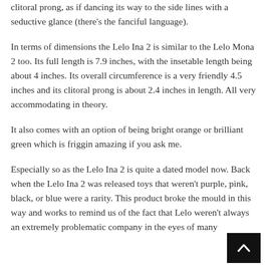clitoral prong, as if dancing its way to the side lines with a seductive glance (there’s the fanciful language).
In terms of dimensions the Lelo Ina 2 is similar to the Lelo Mona 2 too. Its full length is 7.9 inches, with the insetable length being about 4 inches. Its overall circumference is a very friendly 4.5 inches and its clitoral prong is about 2.4 inches in length. All very accommodating in theory.
It also comes with an option of being bright orange or brilliant green which is friggin amazing if you ask me.
Especially so as the Lelo Ina 2 is quite a dated model now. Back when the Lelo Ina 2 was released toys that weren’t purple, pink, black, or blue were a rarity. This product broke the mould in this way and works to remind us of the fact that Lelo weren’t always an extremely problematic company in the eyes of many